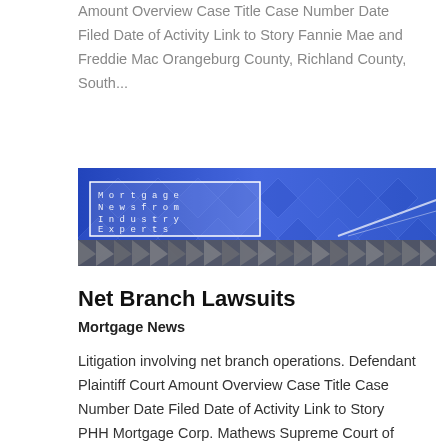Amount Overview Case Title Case Number Date Filed Date of Activity Link to Story Fannie Mae and Freddie Mac Orangeburg County, Richland County, South...
[Figure (illustration): Blue diamond pattern banner with text 'Mortgage News from Industry Experts' overlaid on a blue geometric background with a diagonal white line graphic]
Net Branch Lawsuits
Mortgage News
Litigation involving net branch operations. Defendant Plaintiff Court Amount Overview Case Title Case Number Date Filed Date of Activity Link to Story PHH Mortgage Corp. Mathews Supreme Court of Virginia na Court held that the term "branch office" includes not only...